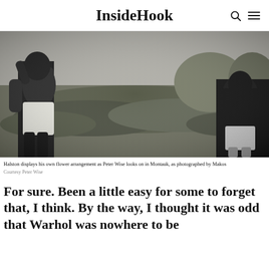InsideHook
[Figure (photo): Black and white photograph of Halston displaying his own flower arrangement while Peter Wise looks on in Montauk, photographed by Makos. Two men outdoors in a garden setting, one shirtless in white shorts.]
Halston displays his own flower arrangement as Peter Wise looks on in Montauk, as photographed by Makos
Courtesy Peter Wise
For sure. Been a little easy for some to forget that, I think. By the way, I thought it was odd that Warhol was nowhere to be